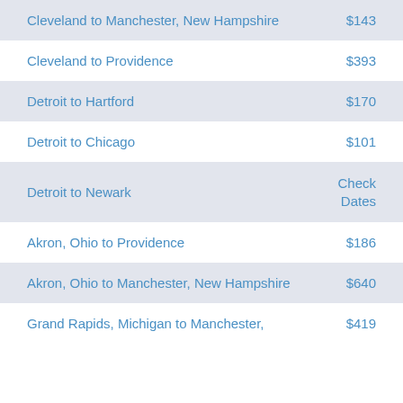Cleveland to Manchester, New Hampshire — $143
Cleveland to Providence — $393
Detroit to Hartford — $170
Detroit to Chicago — $101
Detroit to Newark — Check Dates
Akron, Ohio to Providence — $186
Akron, Ohio to Manchester, New Hampshire — $640
Grand Rapids, Michigan to Manchester, — $419